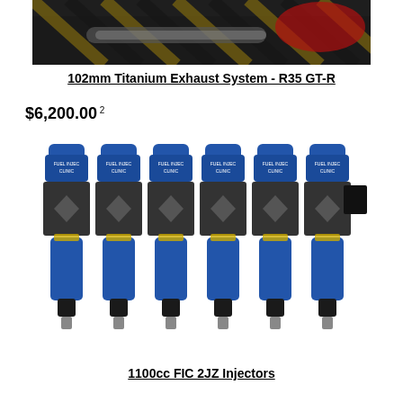[Figure (photo): Photo of 102mm Titanium Exhaust System on R35 GT-R, dark image with yellow and black striped patterns and a red vehicle visible]
102mm Titanium Exhaust System - R35 GT-R
$6,200.00 2
[Figure (photo): Photo of six blue Fuel Injector Clinic 1100cc fuel injectors for 2JZ engine, arranged side by side with blue tops and dark grey bodies]
1100cc FIC 2JZ Injectors